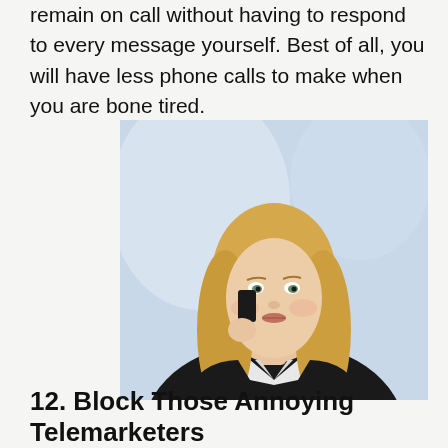remain on call without having to respond to every message yourself. Best of all, you will have less phone calls to make when you are bone tired.
[Figure (photo): A blonde businesswoman in a black blazer and white shirt holding a phone to her ear, looking confidently at the camera, against a light blue-grey background.]
12. Block Those Annoying Telemarketers